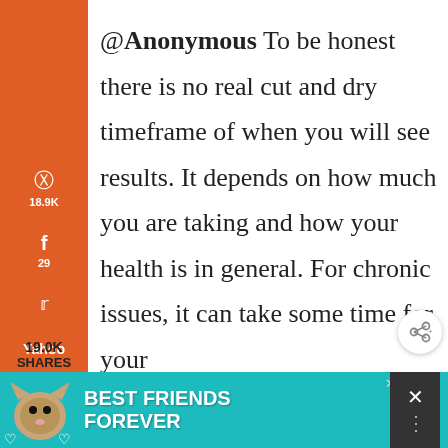[Figure (infographic): Social share sidebar with orange background showing Pinterest (18.9K), Facebook (29), Twitter, Yahoo, Email, and Print icons]
@Anonymous To be honest there is no real cut and dry timeframe of when you will see results. It depends on how much you are taking and how your health is in general. For chronic issues, it can take some time for your
19.0K SHARES
[Figure (screenshot): Advertisement banner: Best Friends Forever with cat image on teal background]